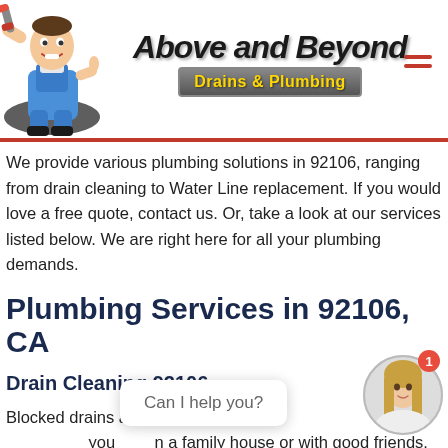[Figure (logo): Above and Beyond Drains & Plumbing company logo with plumber mascot cartoon, company name in stylized italic font, and 'Drains & Plumbing' on a gray metallic banner with yellow text]
We provide various plumbing solutions in 92106, ranging from drain cleaning to Water Line replacement. If you would love a free quote, contact us. Or, take a look at our services listed below. We are right here for all your plumbing demands.
Plumbing Services in 92106, CA
Drain Cleaning 92106
Blocked drains are an outrig... you ... n a family house or with good friends.
[Figure (screenshot): Chat widget popup with text 'Can I help you?' and agent avatar photo of a woman with blonde hair]